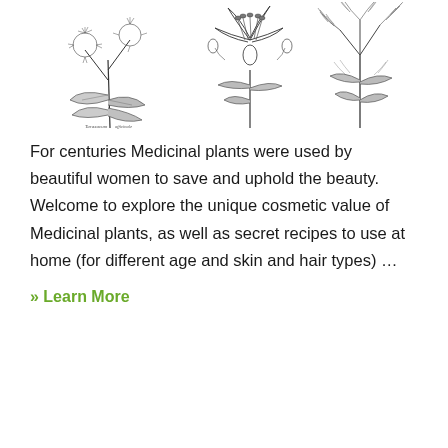[Figure (illustration): Three black-and-white botanical illustrations side by side: left shows a dandelion-like plant with broad leaves and fluffy flower heads with a handwritten label; center shows detailed flower anatomy with stamens, pistils, and petals; right shows a feathery-leaved plant (possibly carrot or fern family) with fine branching foliage.]
For centuries Medicinal plants were used by beautiful women to save and uphold the beauty. Welcome to explore the unique cosmetic value of Medicinal plants, as well as secret recipes to use at home (for different age and skin and hair types) …
» Learn More